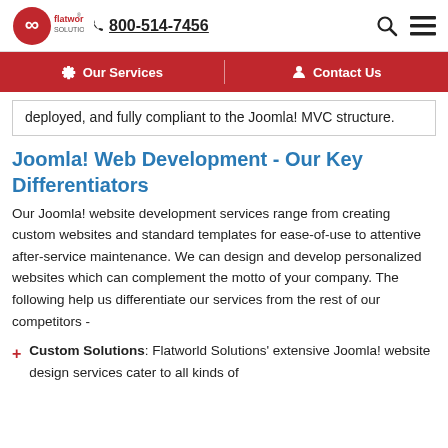flatworld solutions | 800-514-7456
Our Services | Contact Us
deployed, and fully compliant to the Joomla! MVC structure.
Joomla! Web Development - Our Key Differentiators
Our Joomla! website development services range from creating custom websites and standard templates for ease-of-use to attentive after-service maintenance. We can design and develop personalized websites which can complement the motto of your company. The following help us differentiate our services from the rest of our competitors -
Custom Solutions: Flatworld Solutions' extensive Joomla! website design services cater to all kinds of